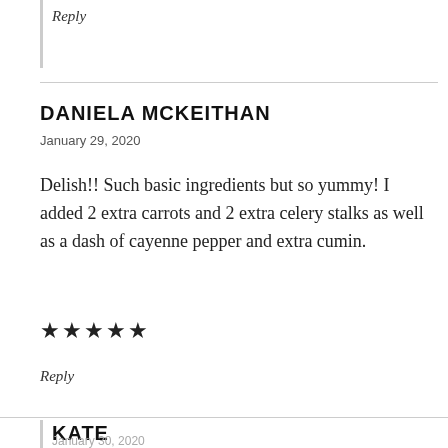Reply
DANIELA MCKEITHAN
January 29, 2020
Delish!! Such basic ingredients but so yummy! I added 2 extra carrots and 2 extra celery stalks as well as a dash of cayenne pepper and extra cumin.
★★★★★
Reply
KATE
January 30, 2020